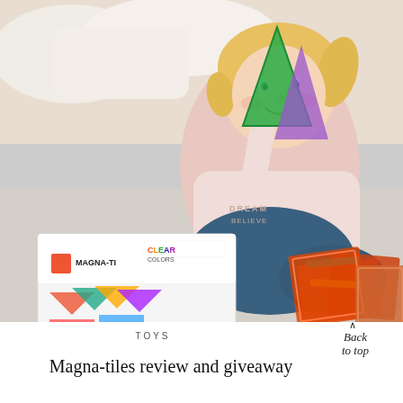[Figure (photo): Young blonde girl in a pink hoodie sitting cross-legged on a rug, playing with colorful Magna-Tiles magnetic building tiles. A Magna-Tiles Clear Colors box is visible to her left, and she is holding up a green triangular tile while more tiles are arranged in front of her.]
TOYS
Back to top
Magna-tiles review and giveaway